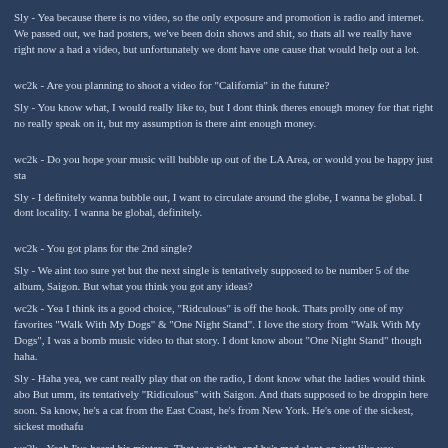Sly - Yea because there is no video, so the only exposure and promotion is radio and internet. We passed out, we had posters, we've been doin shows and shit, so thats all we really have right now a had a video, but unfortunately we dont have one cause that would help out a lot.
wc2k - Are you planning to shoot a video for "California" in the future?
Sly - You know what, I would really like to, but I dont think theres enough money for that right no really speak on it, but my assumption is there aint enough money.
wc2k - Do you hope your music will bubble up out of the LA Area, or would you be happy just sta
Sly - I definitely wanna bubble out, I want to circulate around the globe, I wanna be global. I dont locality. I wanna be global, definitely.
wc2k - You got plans for the 2nd single?
Sly - We aint too sure yet but the next single is tentatively supposed to be number 5 of the album, Saigon. But what you think you got any ideas?
wc2k - Yea I think its a good choice, "Ridculous" is off the hook. Thats prolly one of my favorites "Walk With My Dogs" & "One Night Stand". I love the story from "Walk With My Dogs", I was a bomb music video to that story. I dont know about "One Night Stand" though haha.
Sly - Haha yea, we cant really play that on the radio, I dont know what the ladies would think abo But umm, its tentatively "Ridiculous" with Saigon. And thats supposed to be droppin here soon. Sa know, he's a cat from the East Coast, he's from New York. He's one of the sickest, sickest mothafu
wc2k - Yeah I've heard his mixtape. That was tight, and he's mad slept on just like you.
Sly - Yeah man, its frustrating.